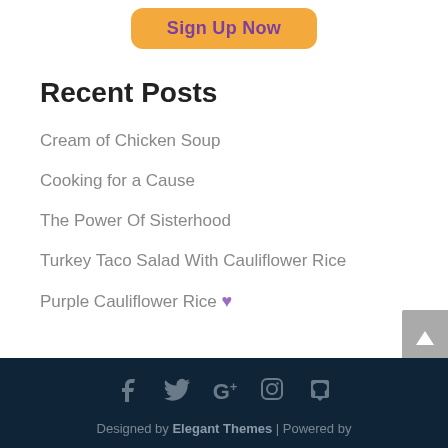[Figure (other): Orange rounded button with purple bold text reading 'Sign Up Now']
Recent Posts
Cream of Chicken Soup
Cooking for a Cause
The Power Of Sisterhood
Turkey Taco Salad With Cauliflower Rice
Purple Cauliflower Rice 💜
Designed by Elegant Themes | Powered by